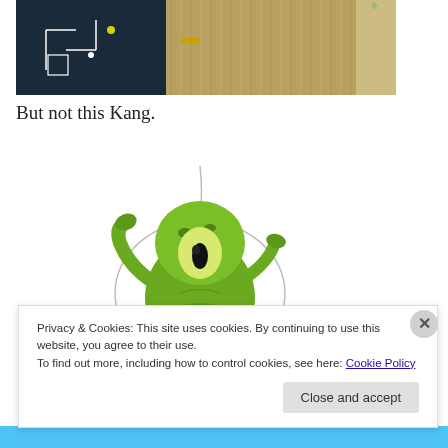[Figure (photo): Partial photo of a person in a fancy or theatrical costume with gold/silver textured fabric, dark background with geometric white outlines]
But not this Kang.
[Figure (illustration): Cartoon illustration of Kang, the alien character from The Simpsons, a green tentacled creature with one large eye, inside a clear dome/helmet, raising a tentacle]
Privacy & Cookies: This site uses cookies. By continuing to use this website, you agree to their use.
To find out more, including how to control cookies, see here: Cookie Policy
Close and accept